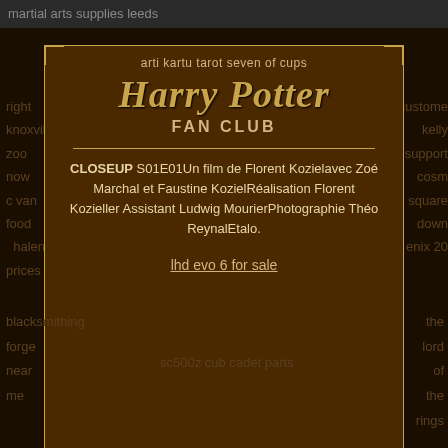martial arts supplies leeds
arti kartu tarot seven of cups
Harry Potter FAN CLUB
CLOSEUP S01E01Un film de Florent Kozielavec Zoé Marchal et Faustine KozielRéalisation Florent Kozieller Assistant Ludwig MourierPhotographie Théo ReynalEtalo.
lhd evo 6 for sale
blacksmithing forge near me
sc500z cub cadet parts
the lord of the rings
right knoxville zoo now c van food halen prices
custome kelly support cosm square down enix 20